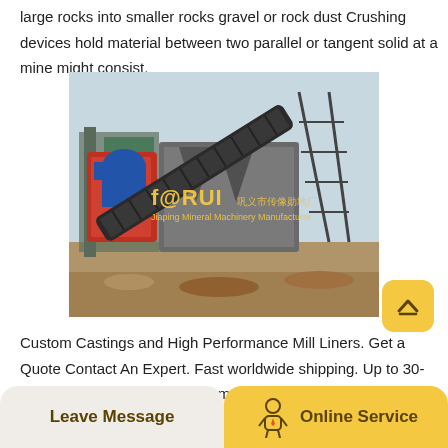large rocks into smaller rocks gravel or rock dust Crushing devices hold material between two parallel or tangent solid at a mine might consist.
[Figure (photo): Industrial rock crushing machinery with conveyor belt, labeled FORUI, at an outdoor mining site.]
Custom Castings and High Performance Mill Liners. Get a Quote Contact An Expert. Fast worldwide shipping. Up to 30-40 less expensive than the competition. Up to 25 efficient pumps than the competition. We can replace Warman and Metso mill liners and wear plates. Backed by our leading guarantee. Made in Canada.
Leave Message   Online Service